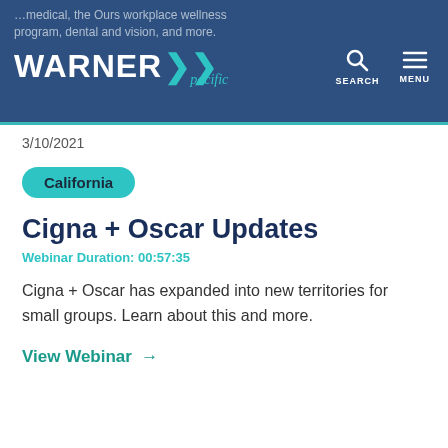...medical, the Ours workplace wellness program, dental and vision, and more.
[Figure (logo): Warner Pacific logo with teal chevron arrows and italic 'pacific' subtitle, on dark blue navigation header with SEARCH and MENU icons]
3/10/2021
California
Cigna + Oscar Updates
Webinar Duration: 00:57:35
Cigna + Oscar has expanded into new territories for small groups. Learn about this and more.
View Webinar →